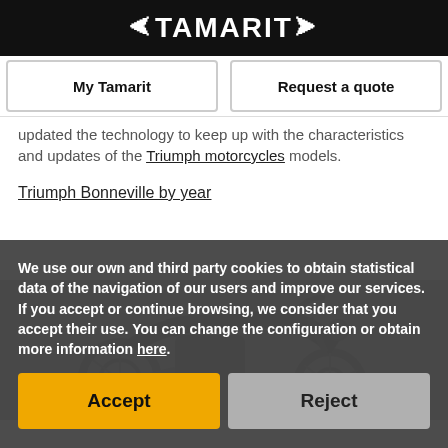TAMARIT
My Tamarit
Request a quote
updated the technology to keep up with the characteristics and updates of the Triumph motorcycles models.
Triumph Bonneville by year
[Figure (photo): Triumph motorcycle silhouette image in dark grey background]
We use our own and third party cookies to obtain statistical data of the navigation of our users and improve our services. If you accept or continue browsing, we consider that you accept their use. You can change the configuration or obtain more information here.
Accept
Reject